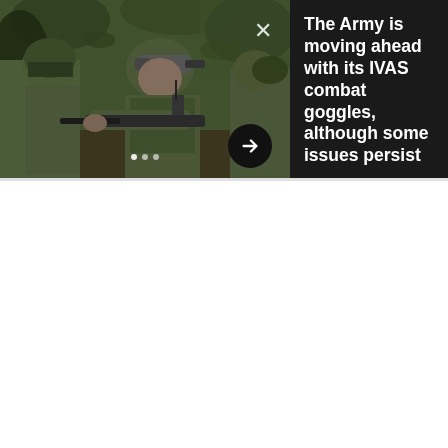[Figure (photo): Soldiers in camouflage gear with combat equipment and IVAS goggles in a forest setting. Navigation dots and close X button visible. Right side shows dark background with article headline text and arrow button.]
The Army is moving ahead with its IVAS combat goggles, although some issues persist
[Figure (photo): SmartPak advertisement banner showing logo with horse icon, product image of supplement with horse and woman, text '50% Off Two Months of ColiCare', subtext 'ColiCare Eligible Supplements CODE: COLICARE10', and blue CTA button with 'Sh No...']